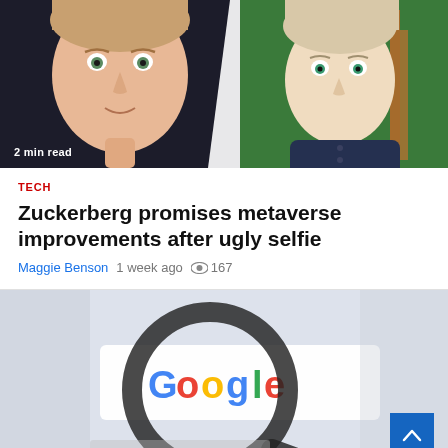[Figure (photo): Two CGI/avatar faces side by side — left: a realistic-looking metaverse avatar resembling Mark Zuckerberg on dark background; right: a more stylized avatar with green eyes on green screen background with Eiffel Tower partial view]
2 min read
TECH
Zuckerberg promises metaverse improvements after ugly selfie
Maggie Benson  1 week ago  167
[Figure (photo): A magnifying glass held up showing the Google logo (blue G, red o, yellow o, blue g, green l, red e) on a white search page background, slightly blurred edges]
1 min read